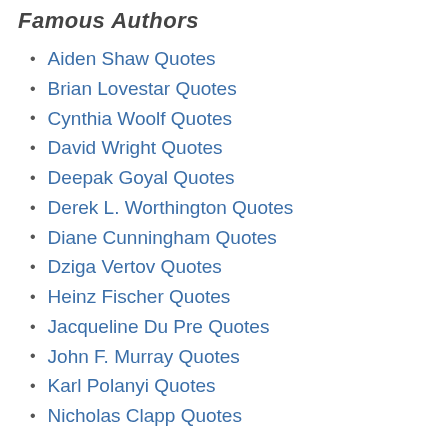Famous Authors
Aiden Shaw Quotes
Brian Lovestar Quotes
Cynthia Woolf Quotes
David Wright Quotes
Deepak Goyal Quotes
Derek L. Worthington Quotes
Diane Cunningham Quotes
Dziga Vertov Quotes
Heinz Fischer Quotes
Jacqueline Du Pre Quotes
John F. Murray Quotes
Karl Polanyi Quotes
Nicholas Clapp Quotes